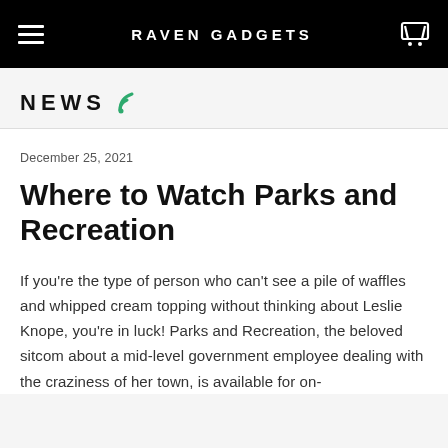RAVEN GADGETS
NEWS
December 25, 2021
Where to Watch Parks and Recreation
If you're the type of person who can't see a pile of waffles and whipped cream topping without thinking about Leslie Knope, you're in luck! Parks and Recreation, the beloved sitcom about a mid-level government employee dealing with the craziness of her town, is available for on-